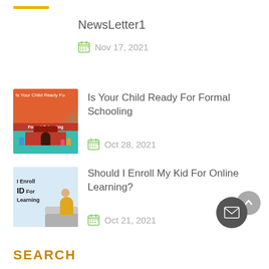NewsLetter1
Nov 17, 2021
[Figure (illustration): Is Your Child Ready For Formal Schooling thumbnail - shows a school building with children]
Is Your Child Ready For Formal Schooling
Oct 28, 2021
[Figure (illustration): Should I Enroll My Kid For Online Learning? thumbnail - shows text and a child on sofa]
Should I Enroll My Kid For Online Learning?
Oct 21, 2021
SEARCH